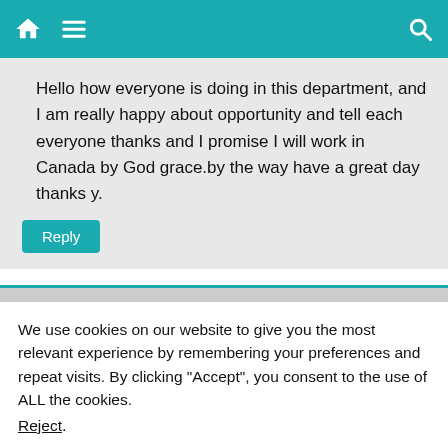Navigation bar with home, menu, and search icons
Hello how everyone is doing in this department, and I am really happy about opportunity and tell each everyone thanks and I promise I will work in Canada by God grace.by the way have a great day thanks y.
Reply
We use cookies on our website to give you the most relevant experience by remembering your preferences and repeat visits. By clicking “Accept”, you consent to the use of ALL the cookies.
Reject.
Cookie Settings  Accept